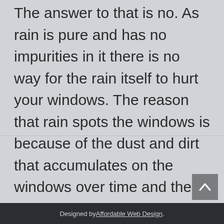The answer to that is no. As rain is pure and has no impurities in it there is no way for the rain itself to hurt your windows. The reason that rain spots the windows is because of the dust and dirt that accumulates on the windows over time and the rain water collects and dries on the spot. When a window is clean, the rain water dries clean. There are some exceptions to this rule though.
Designed by Affordable Web Design.